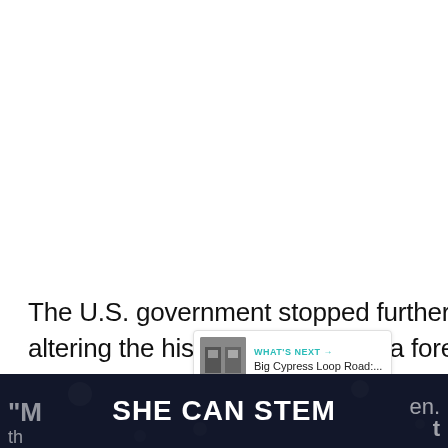The U.S. government stopped further boat lifts, but not before altering the history of Miami Florida forever.
[Figure (screenshot): UI overlay with a teal circular like/heart button showing count of 2, a share button, and a 'WHAT'S NEXT' panel showing 'Big Cypress Loop Road:...' with a thumbnail image]
[Figure (screenshot): Dark bottom banner advertisement reading 'SHE CAN STEM' in bold white text on a dark navy/space background, with partial text on the left and right sides]